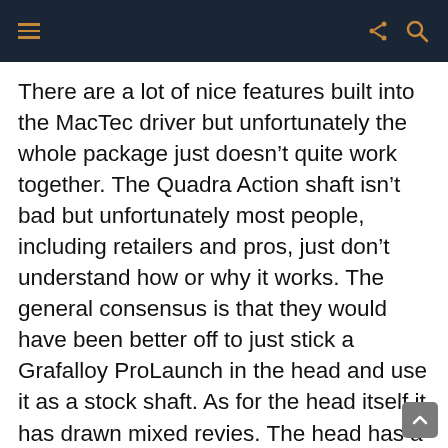menu | share | search
There are a lot of nice features built into the MacTec driver but unfortunately the whole package just doesn’t quite work together. The Quadra Action shaft isn’t bad but unfortunately most people, including retailers and pros, just don’t understand how or why it works. The general consensus is that they would have been better off to just stick a Grafalloy ProLaunch in the head and use it as a stock shaft. As for the head itself it has drawn mixed revies. The head has a very rounded appearance to it and sits quite closed. There is no denying the forgiveness of the head but the appearance is odd and the blue finish on the crown marks up extremely easy. In side